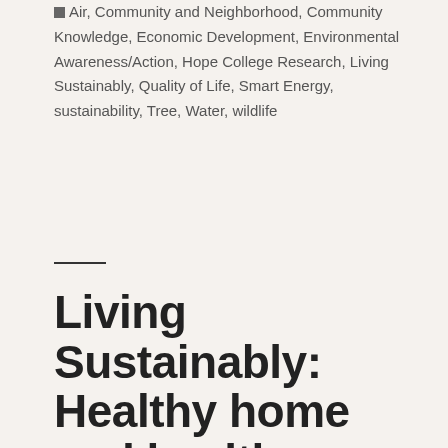Air, Community and Neighborhood, Community Knowledge, Economic Development, Environmental Awareness/Action, Hope College Research, Living Sustainably, Quality of Life, Smart Energy, sustainability, Tree, Water, wildlife
Living Sustainably: Healthy home and healthy world go hand-in-hand